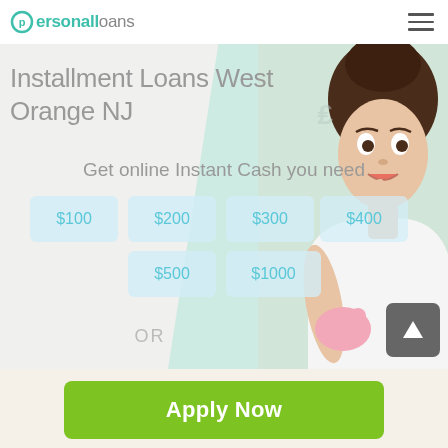[Figure (screenshot): PersonalLoans website header with teal logo and hamburger menu]
Installment Loans West Orange NJ
Get online Instant Cash you need
$100
$200
$300
$400
$500
$1000
OR
Apply Now
Applying does NOT affect your credit score!
No credit check to apply.